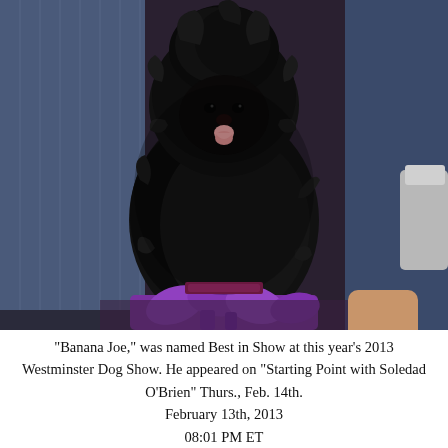[Figure (photo): A fluffy black Affenpinscher dog named Banana Joe sitting upright, tongue slightly out, with purple ribbons/bow in front and a trophy partially visible on the right. A person in a blue pinstripe suit stands behind the dog.]
"Banana Joe," was named Best in Show at this year's 2013 Westminster Dog Show. He appeared on "Starting Point with Soledad O'Brien" Thurs., Feb. 14th. February 13th, 2013 08:01 PM ET